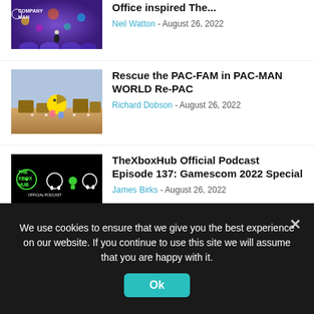[Figure (screenshot): Company Man game screenshot — colorful crowd scene with a lone figure in the center]
Office inspired The...
Neil Watton - August 26, 2022
[Figure (screenshot): PAC-MAN WORLD Re-PAC screenshot — Pac-Man character on a sandy level with boxes]
Rescue the PAC-FAM in PAC-MAN WORLD Re-PAC
Richard Dobson - August 26, 2022
[Figure (logo): TheXboxHub Official Podcast logo — green Xbox Hub text and podcast icons on black background]
TheXboxHub Official Podcast Episode 137: Gamescom 2022 Special
James Birks - August 26, 2022
We use cookies to ensure that we give you the best experience on our website. If you continue to use this site we will assume that you are happy with it.